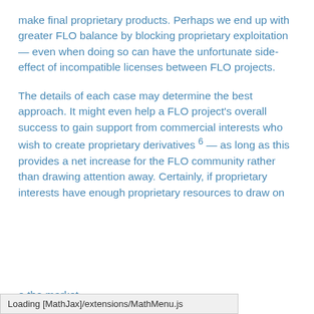make final proprietary products. Perhaps we end up with greater FLO balance by blocking proprietary exploitation — even when doing so can have the unfortunate side-effect of incompatible licenses between FLO projects.
The details of each case may determine the best approach. It might even help a FLO project's overall success to gain support from commercial interests who wish to create proprietary derivatives 6 — as long as this provides a net increase for the FLO community rather than drawing attention away. Certainly, if proprietary interests have enough proprietary resources to draw on ... the market
Loading [MathJax]/extensions/MathMenu.js